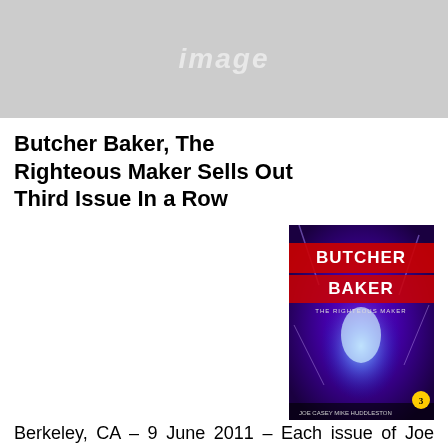[Figure (logo): Image Comics logo/banner in gray with italic 'image' text in lighter gray]
Butcher Baker, The Righteous Maker Sells Out Third Issue In a Row
[Figure (photo): Comic book cover of Butcher Baker, The Righteous Maker with purple and electric blue energy art, red title text, issue #3]
Berkeley, CA – 9 June 2011 – Each issue of Joe Casey and Mike Huddleston’s BUTCHER BAKER, THE RIGHTEOUS MAKER has been met not only with immediate approval from fans and reviewers, but with news of distribution-wide sell out as well! The third issue of this mind-altering NSFW comic is no exception, and Image Comics has rushed it back to press so retailers can restock this popular title right as the fourth issue is set to hit shelves.